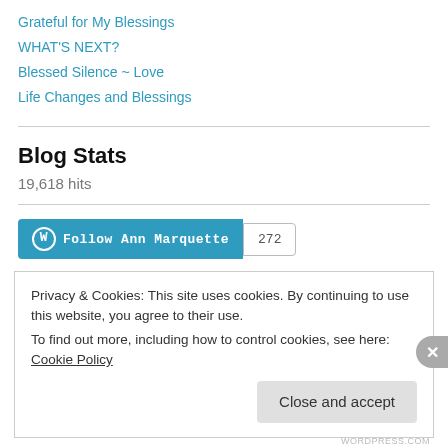Grateful for My Blessings
WHAT'S NEXT?
Blessed Silence ~ Love
Life Changes and Blessings
Blog Stats
19,618 hits
[Figure (other): WordPress Follow button for Ann Marquette with follower count 272]
Privacy & Cookies: This site uses cookies. By continuing to use this website, you agree to their use.
To find out more, including how to control cookies, see here: Cookie Policy
Close and accept